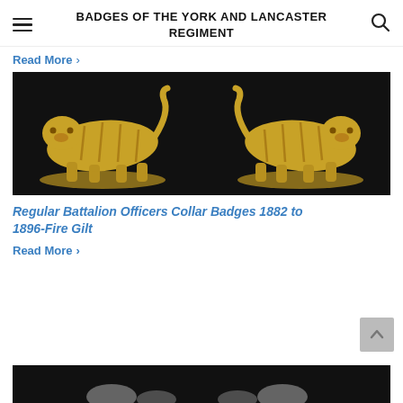BADGES OF THE YORK AND LANCASTER REGIMENT
Read More >
[Figure (photo): Two gold gilt tiger collar badges facing each other on a black background]
Regular Battalion Officers Collar Badges 1882 to 1896-Fire Gilt
Read More >
[Figure (photo): Partial view of additional collar badges on black background at bottom of page]